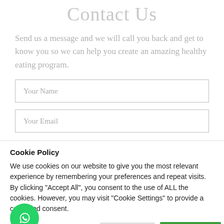Contact Us
Send us a message and we will call you back and get to know you so we can help you create an amazing healthy eating program.
Your Name
Your Email
Cookie Policy
We use cookies on our website to give you the most relevant experience by remembering your preferences and repeat visits. By clicking "Accept All", you consent to the use of ALL the cookies. However, you may visit "Cookie Settings" to provide a controlled consent.
Cookie Settings | Accept All